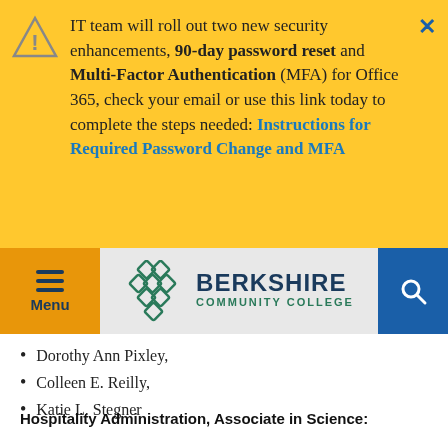IT team will roll out two new security enhancements, 90-day password reset and Multi-Factor Authentication (MFA) for Office 365, check your email or use this link today to complete the steps needed: Instructions for Required Password Change and MFA
[Figure (logo): Berkshire Community College logo with green interlocking diamond pattern and college name]
Dorothy Ann Pixley,
Colleen E. Reilly,
Katie L. Stegner
Hospitality Administration, Associate in Science: